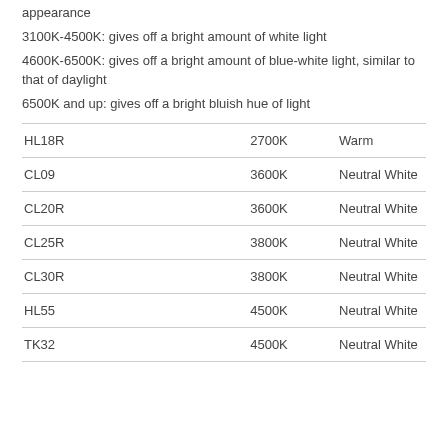appearance
3100K-4500K: gives off a bright amount of white light
4600K-6500K: gives off a bright amount of blue-white light, similar to that of daylight
6500K and up: gives off a bright bluish hue of light
| HL18R | 2700K | Warm |
| CL09 | 3600K | Neutral White |
| CL20R | 3600K | Neutral White |
| CL25R | 3800K | Neutral White |
| CL30R | 3800K | Neutral White |
| HL55 | 4500K | Neutral White |
| TK32 | 4500K | Neutral White |